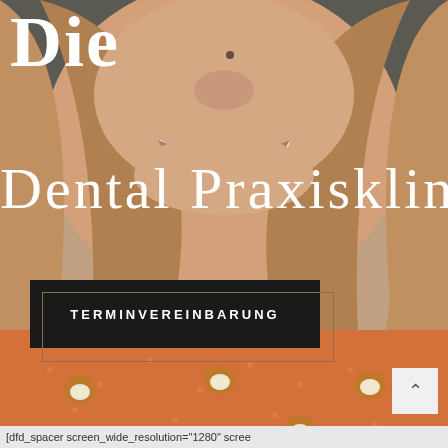[Figure (photo): Close-up photo of a smiling woman with long reddish-brown hair, wearing an orange top with fox print pattern. The photo fills the entire background of the page.]
Die
Dental Praxisklinik
TERMINVEREINBARUNG
[dfd_spacer screen_wide_resolution="1280" scree